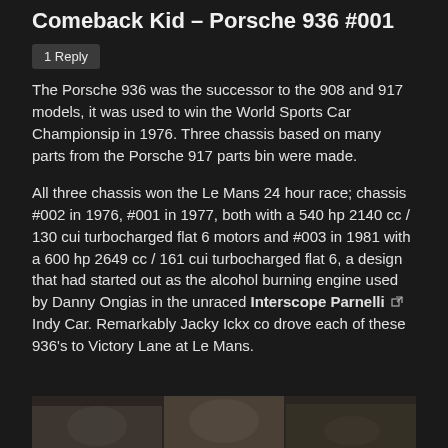Comeback Kid – Porsche 936 #001
1 Reply
The Porsche 936 was the successor to the 908 and 917 models, it was used to win the World Sports Car Championsip in 1976. Three chassis based on many parts from the Porsche 917 parts bin were made.
All three chassis won the Le Mans 24 hour race; chassis #002 in 1976, #001 in 1977, both with a 540 hp 2140 cc / 130 cui turbocharged flat 6 motors and #003 in 1981 with a 600 hp 2649 cc / 161 cui turbocharged flat 6, a design that had started out as the alcohol burning engine used by Danny Ongias in the unraced Interscope Parnelli Indy Car. Remarkably Jacky Ickx co drove each of these 936's to Victory Lane at Le Mans.
[Figure (photo): Bottom strip of a photograph showing people, partially visible at the bottom of the page]